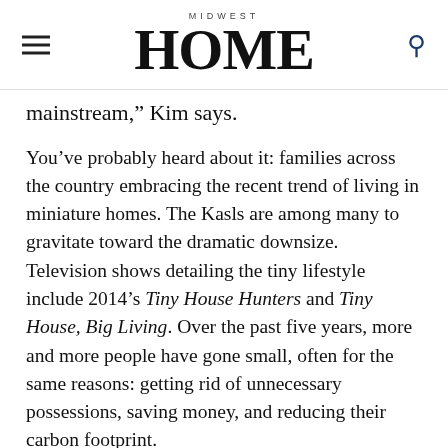MIDWEST HOME
mainstream," Kim says.
You've probably heard about it: families across the country embracing the recent trend of living in miniature homes. The Kasls are among many to gravitate toward the dramatic downsize. Television shows detailing the tiny lifestyle include 2014's Tiny House Hunters and Tiny House, Big Living. Over the past five years, more and more people have gone small, often for the same reasons: getting rid of unnecessary possessions, saving money, and reducing their carbon footprint.
Three years ago, the crew of another TV series, Tiny House Nation, built a tiny house in a southern